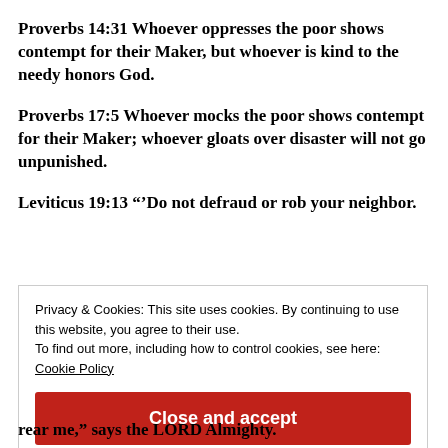Proverbs 14:31 Whoever oppresses the poor shows contempt for their Maker, but whoever is kind to the needy honors God.
Proverbs 17:5 Whoever mocks the poor shows contempt for their Maker; whoever gloats over disaster will not go unpunished.
Leviticus 19:13 “’Do not defraud or rob your neighbor.
Privacy & Cookies: This site uses cookies. By continuing to use this website, you agree to their use.
To find out more, including how to control cookies, see here:
Cookie Policy
Close and accept
rear me,” says the LORD Almighty.